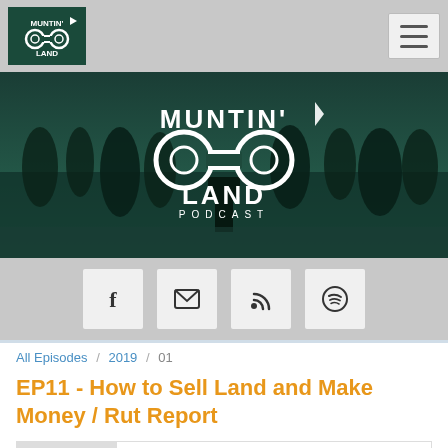[Figure (logo): Huntin' Land Podcast logo in white on dark green background in navigation bar]
[Figure (logo): Huntin' Land Podcast hero banner with large white logo text on dark teal/forest background with trees]
[Figure (infographic): Social media icon buttons: Facebook, Email/envelope, RSS feed, Spotify on gray background]
All Episodes / 2019 / 01
EP11 - How to Sell Land and Make Money / Rut Report
[Figure (screenshot): Podcast player card showing play button thumbnail, HUNTIN' LAND PODCAST label, episode title EP11 - How to Sell Land and Make Money / Ru..., and waveform/progress bar area]